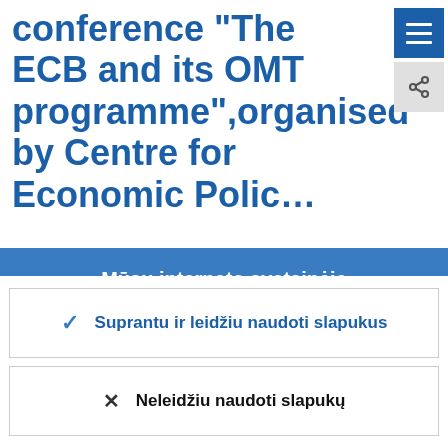conference "The ECB and its OMT programme",organised by Centre for Economic Polic…
Mūsų interneto svetainėje naudojami slapukai
Nuolat stengiamės, kad mūsų interneto svetainė lankytojams būtų patogesnė. Tam naudojame slapukų surinktus anoniminius duomenis.
Sužinokite daugiau, kaip naudojame slapukus
Suprantu ir leidžiu naudoti slapukus
Neleidžiu naudoti slapukų